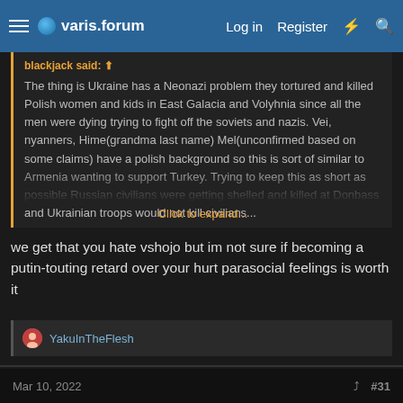varis.forum — Log in | Register
blackjack said: ↑

The thing is Ukraine has a Neonazi problem they tortured and killed Polish women and kids in East Galacia and Volyhnia since all the men were dying trying to fight off the soviets and nazis. Vei, nyanners, Hime(grandma last name) Mel(unconfirmed based on some claims) have a polish background so this is sort of similar to Armenia wanting to support Turkey. Trying to keep this as short as possible Russian civilians were getting shelled and killed at Donbass and Ukrainian troops would not kill civilians... Click to expand...
we get that you hate vshojo but im not sure if becoming a putin-touting retard over your hurt parasocial feelings is worth it
YakuInTheFlesh
blackjack
varishangout.com
Mar 10, 2022  #31